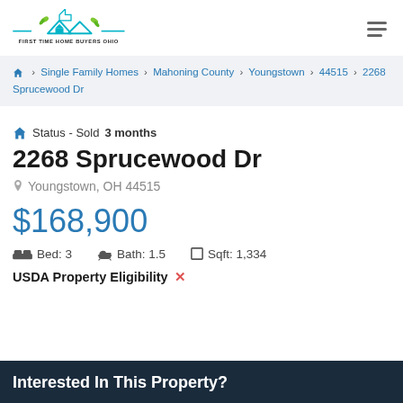[Figure (logo): First Time Home Buyers Ohio logo with teal house icon and green leaves]
⌂ > Single Family Homes > Mahoning County > Youngstown > 44515 > 2268 Sprucewood Dr
⌂ Status - Sold 3 months
2268 Sprucewood Dr
Youngstown, OH 44515
$168,900
Bed: 3   Bath: 1.5   Sqft: 1,334
USDA Property Eligibility ✗
Interested In This Property?